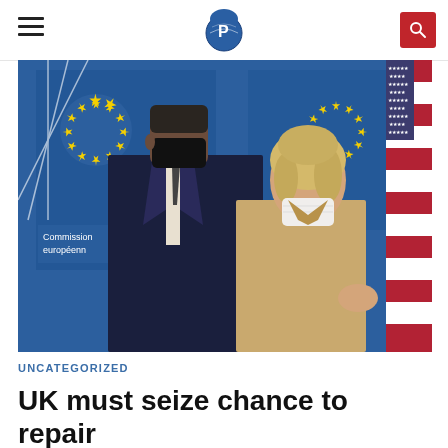PoliticsHome (logo)
[Figure (photo): Two officials wearing face masks walk in front of EU Commission and US flag backdrop. A man in a dark suit with a black mask and a woman in a beige jacket with a white mask.]
UNCATEGORIZED
UK must seize chance to repair ations with EU. savs thinktank